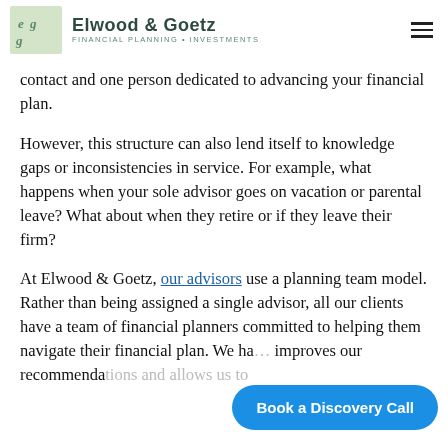Elwood & Goetz — FINANCIAL PLANNING • INVESTMENTS
contact and one person dedicated to advancing your financial plan.
However, this structure can also lend itself to knowledge gaps or inconsistencies in service. For example, what happens when your sole advisor goes on vacation or parental leave? What about when they retire or if they leave their firm?
At Elwood & Goetz, our advisors use a planning team model. Rather than being assigned a single advisor, all our clients have a team of financial planners committed to helping them navigate their financial plan. We ha… improves our recommendations and allows us to